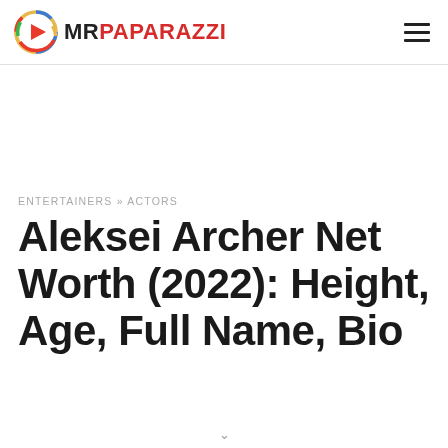MR PAPARAZZI
ENTERTAINERS » ACTORS
Aleksei Archer Net Worth (2022): Height, Age, Full Name, Bio